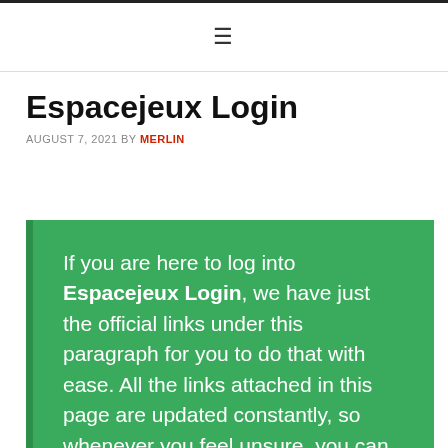≡
Espacejeux Login
AUGUST 7, 2021 BY MERLIN
If you are here to log into Espacejeux Login, we have just the official links under this paragraph for you to do that with ease. All the links attached in this page are updated constantly, so whenever you feel unsure, you can